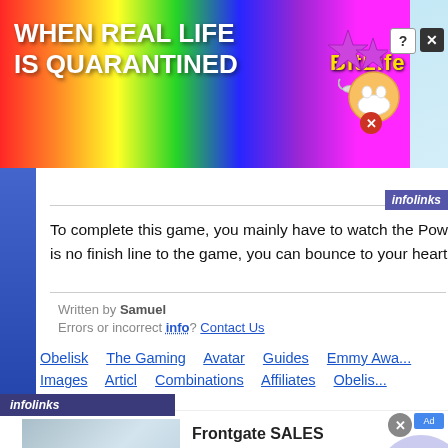[Figure (screenshot): BitLife game advertisement banner with rainbow background, 'WHEN REAL LIFE IS QUARANTINED' text, BitLife logo, stars and masked emoji icons]
To complete this game, you mainly have to watch the Power of your Ju... is no finish line to the game, you can bounce to your heart's desire all da...
Written by Samuel
Errors or incorrect info? Contact Us
Obelisk   The Gaming   Avatar   Guides   Emmy Awa...
Images   Articl   Combinations   Affiliates   Obelis...
[Figure (screenshot): Frontgate SALES advertisement: bedroom image, 'Up to 30% off sitewide from August 23-25', www.frontgate.com, with circular arrow navigation button]